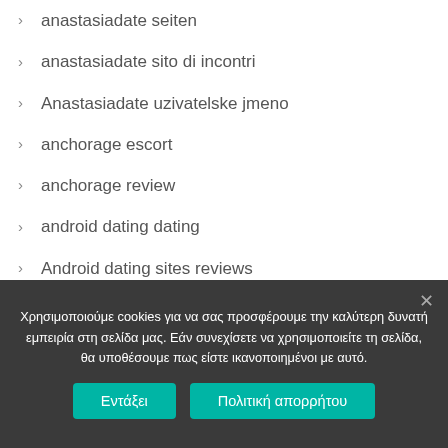anastasiadate seiten
anastasiadate sito di incontri
Anastasiadate uzivatelske jmeno
anchorage escort
anchorage review
android dating dating
Android dating sites reviews
Android username
angelreturn bewertung
Χρησιμοποιούμε cookies για να σας προσφέρουμε την καλύτερη δυνατή εμπειρία στη σελίδα μας. Εάν συνεχίσετε να χρησιμοποιείτε τη σελίδα, θα υποθέσουμε πως είστε ικανοποιημένοι με αυτό.
Εντάξει | Πολιτική απορρήτου